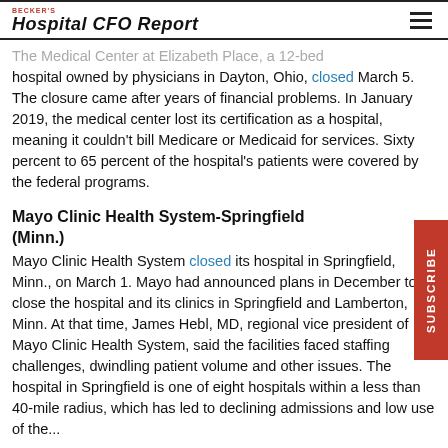BECKER'S Hospital CFO Report
The Medical Center at Elizabeth Place, a 12-bed hospital owned by physicians in Dayton, Ohio, closed March 5. The closure came after years of financial problems. In January 2019, the medical center lost its certification as a hospital, meaning it couldn't bill Medicare or Medicaid for services. Sixty percent to 65 percent of the hospital's patients were covered by the federal programs.
Mayo Clinic Health System-Springfield (Minn.)
Mayo Clinic Health System closed its hospital in Springfield, Minn., on March 1. Mayo had announced plans in December to close the hospital and its clinics in Springfield and Lamberton, Minn. At that time, James Hebl, MD, regional vice president of Mayo Clinic Health System, said the facilities faced staffing challenges, dwindling patient volume and other issues. The hospital in Springfield is one of eight hospitals within a less than 40-mile radius, which has led to declining admissions and low use of the...